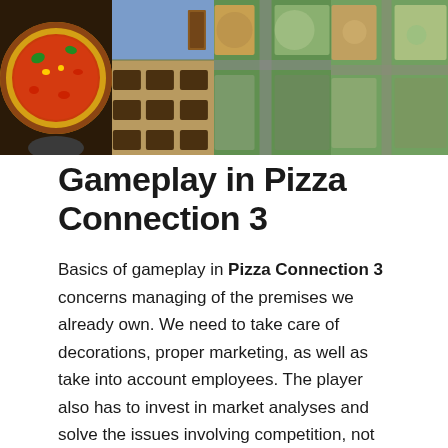[Figure (photo): Strip of four game screenshots from Pizza Connection 3: a close-up of a pizza, an overhead view of a restaurant interior, and two aerial city-building views.]
Gameplay in Pizza Connection 3
Basics of gameplay in Pizza Connection 3 concerns managing of the premises we already own. We need to take care of decorations, proper marketing, as well as take into account employees. The player also has to invest in market analyses and solve the issues involving competition, not always in legal way. In order to become the best businessman in the market, you should get Pizza Connection 3 trainer and outsmart your opponents. There are a lot of interesting methods of fighting off your